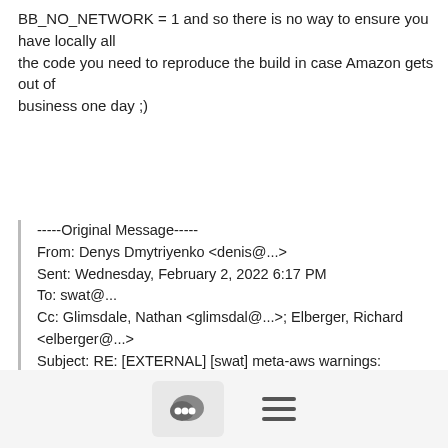BB_NO_NETWORK = 1 and so there is no way to ensure you have locally all the code you need to reproduce the build in case Amazon gets out of business one day ;)
-----Original Message-----
From: Denys Dmytriyenko <denis@...>
Sent: Wednesday, February 2, 2022 6:17 PM
To: swat@...
Cc: Glimsdale, Nathan <glimsdal@...>; Elberger, Richard <elberger@...>
Subject: RE: [EXTERNAL] [swat] meta-aws warnings: SRCREV_FORMAT variable must be set when multiple SCMs are used

CAUTION: This email originated from outside of the organization. Do not click links or open attachments unless you can confirm the sender and know the content